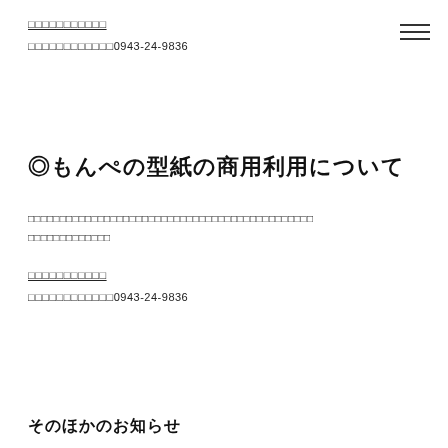□□□□□□□□□□□
□□□□□□□□□□□□0943-24-9836
◎もんぺの型紙の商用利用について
□□□□□□□□□□□□□□□□□□□□□□□□□□□□□□□□□□□□□□□□□□□□□
□□□□□□□□□□□□□
□□□□□□□□□□□
□□□□□□□□□□□□0943-24-9836
そのほかのお知らせ